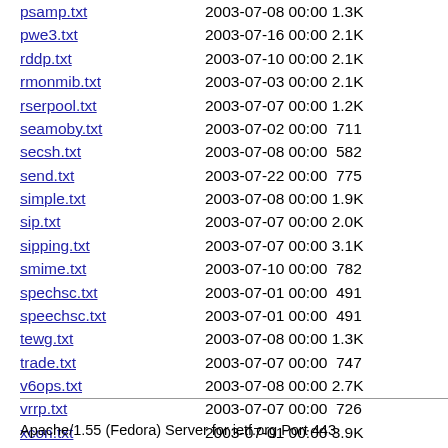psamp.txt    2003-07-08 00:00 1.3K
pwe3.txt     2003-07-16 00:00 2.1K
rddp.txt     2003-07-10 00:00 2.1K
rmonmib.txt  2003-07-03 00:00 2.1K
rserpool.txt 2003-07-07 00:00 1.2K
seamoby.txt  2003-07-02 00:00  711
secsh.txt    2003-07-08 00:00  582
send.txt     2003-07-22 00:00  775
simple.txt   2003-07-08 00:00 1.9K
sip.txt      2003-07-07 00:00 2.0K
sipping.txt  2003-07-07 00:00 3.1K
smime.txt    2003-07-10 00:00  782
spechsc.txt  2003-07-01 00:00  491
speechsc.txt 2003-07-01 00:00  491
tewg.txt     2003-07-08 00:00 1.3K
trade.txt    2003-07-07 00:00  747
v6ops.txt    2003-07-08 00:00 2.7K
vrrp.txt     2003-07-07 00:00  726
xcon.txt     2003-07-01 00:00 3.9K
...